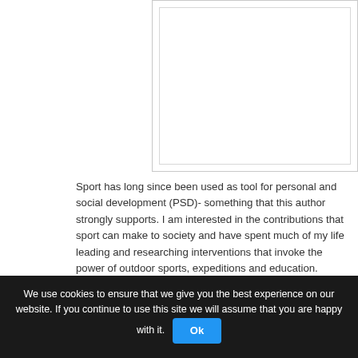[Figure (other): Empty white box with a light gray border, representing a placeholder image or video area]
Sport has long since been used as tool for personal and social development (PSD)- something that this author strongly supports. I am interested in the contributions that sport can make to society and have spent much of my life leading and researching interventions that invoke the power of outdoor sports, expeditions and education.
We use cookies to ensure that we give you the best experience on our website. If you continue to use this site we will assume that you are happy with it.  Ok